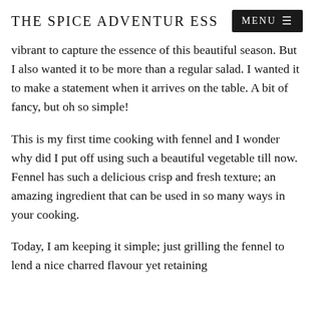THE SPICE ADVENTURESS
vibrant to capture the essence of this beautiful season. But I also wanted it to be more than a regular salad. I wanted it to make a statement when it arrives on the table. A bit of fancy, but oh so simple!
This is my first time cooking with fennel and I wonder why did I put off using such a beautiful vegetable till now. Fennel has such a delicious crisp and fresh texture; an amazing ingredient that can be used in so many ways in your cooking.
Today, I am keeping it simple; just grilling the fennel to lend a nice charred flavour yet retaining